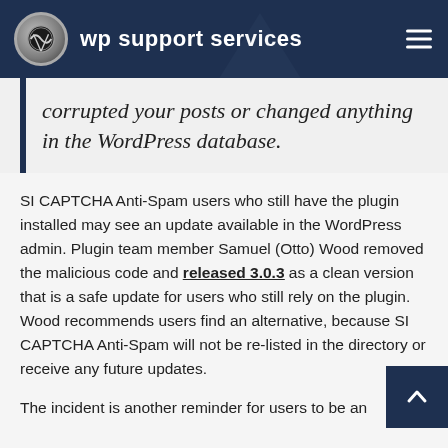wp support services
corrupted your posts or changed anything in the WordPress database.
SI CAPTCHA Anti-Spam users who still have the plugin installed may see an update available in the WordPress admin. Plugin team member Samuel (Otto) Wood removed the malicious code and released 3.0.3 as a clean version that is a safe update for users who still rely on the plugin. Wood recommends users find an alternative, because SI CAPTCHA Anti-Spam will not be re-listed in the directory or receive any future updates.
The incident is another reminder for users to be an